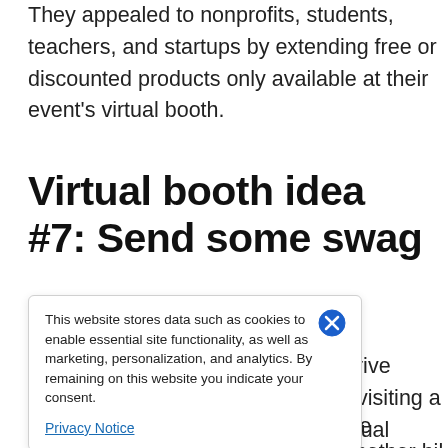They appealed to nonprofits, students, teachers, and startups by extending free or discounted products only available at their event's virtual booth.
Virtual booth idea #7: Send some swag
Whether it's a pre-event move to drive some buzz or visiting a virtual nice surprise. ponsors and t attendees with some physical mail (that isn't yet another bill or
This website stores data such as cookies to enable essential site functionality, as well as marketing, personalization, and analytics. By remaining on this website you indicate your consent.
Privacy Notice